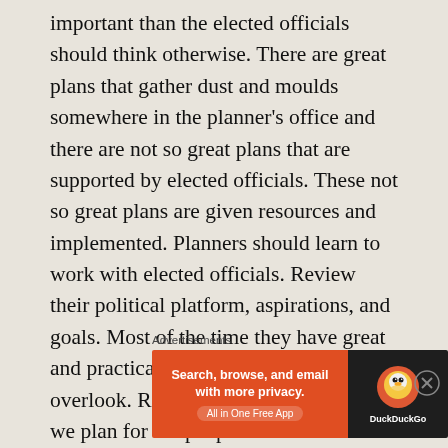important than the elected officials should think otherwise. There are great plans that gather dust and moulds somewhere in the planner's office and there are not so great plans that are supported by elected officials. These not so great plans are given resources and implemented. Planners should learn to work with elected officials. Review their political platform, aspirations, and goals. Most of the time they have great and practical ideas that planners tend to overlook. Remember that as planners we plan for the people and our elected officials being voted into their
Advertisements
[Figure (other): DuckDuckGo advertisement banner: 'Search, browse, and email with more privacy. All in One Free App' on orange background with DuckDuckGo logo on dark background]